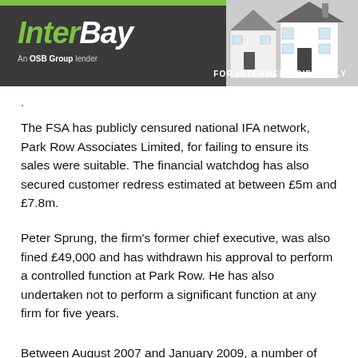InterBay — An OSB Group lender — FOR INTERMEDIARIES ONLY
.
The FSA has publicly censured national IFA network, Park Row Associates Limited, for failing to ensure its sales were suitable. The financial watchdog has also secured customer redress estimated at between £5m and £7.8m.
Peter Sprung, the firm's former chief executive, was also fined £49,000 and has withdrawn his approval to perform a controlled function at Park Row. He has also undertaken not to perform a significant function at any firm for five years.
Between August 2007 and January 2009, a number of serious...